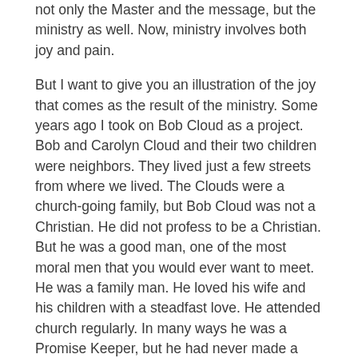not only the Master and the message, but the ministry as well. Now, ministry involves both joy and pain.
But I want to give you an illustration of the joy that comes as the result of the ministry. Some years ago I took on Bob Cloud as a project. Bob and Carolyn Cloud and their two children were neighbors. They lived just a few streets from where we lived. The Clouds were a church-going family, but Bob Cloud was not a Christian. He did not profess to be a Christian. But he was a good man, one of the most moral men that you would ever want to meet. He was a family man. He loved his wife and his children with a steadfast love. He attended church regularly. In many ways he was a Promise Keeper, but he had never made a profession of faith in Christ. So I just took on Bob as a project. We would go out to eat about once a month. We sat together at ball games. He began to become more and more vulnerable, and more and more receptive. We were having a capital fundraising campaign in our church and someone gave us 20 acres of land. Bob was a land appraiser and he and I took off to Issaquena County to appraise this land. We spent the day together. The last half of the day we spent talking about the Lord and before we got home that evening